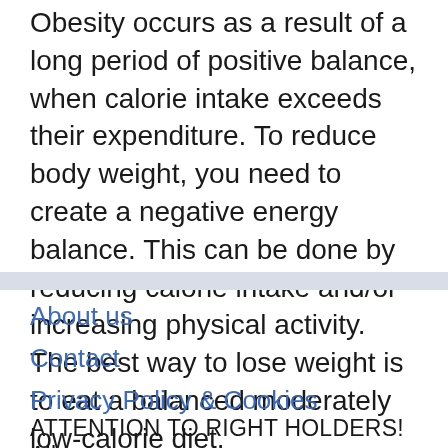Obesity occurs as a result of a long period of positive balance, when calorie intake exceeds their expenditure. To reduce body weight, you need to create a negative energy balance. This can be done by reducing calorie intake and/or increasing physical activity. The best way to lose weight is to eat a balanced moderately low-calorie diet.
About us
Contact
Privacy Policy & Cookies
ATTENTION TO RIGHT HOLDERS! All